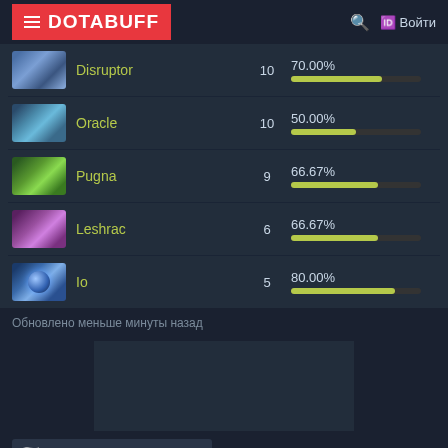DOTABUFF | Войти
| Hero | Games | Win Rate |
| --- | --- | --- |
| Disruptor | 10 | 70.00% |
| Oracle | 10 | 50.00% |
| Pugna | 9 | 66.67% |
| Leshrac | 6 | 66.67% |
| Io | 5 | 80.00% |
Обновлено меньше минуты назад
[Figure (other): Advertisement placeholder area]
🇷🇺 Русский (Russian) ▲
О нас  ЧаБо  Поддержка  Приватность  Помочь с переводом!
Overbuff  Fortbuff  Valorbuff  TrackDota
Copyright 2022 Elo Entertainment Inc.. Мы нанимаем! Dota 2 is a registered trademark of Valve Corporation.